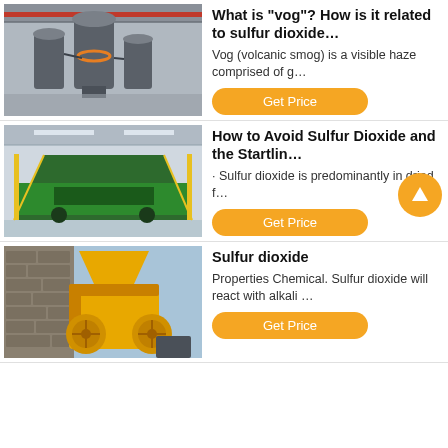[Figure (photo): Industrial machinery inside a large factory/warehouse with large gray grinding mill equipment]
What is "vog"? How is it related to sulfur dioxide…
Vog (volcanic smog) is a visible haze comprised of g…
Get Price
[Figure (photo): Large green mining/conveyor equipment inside an industrial building]
How to Avoid Sulfur Dioxide and the Startlin…
· Sulfur dioxide is predominantly in dried f…
Get Price
[Figure (photo): Yellow jaw crusher machine outdoors next to stone wall]
Sulfur dioxide
Properties Chemical. Sulfur dioxide will react with alkali …
Get Price